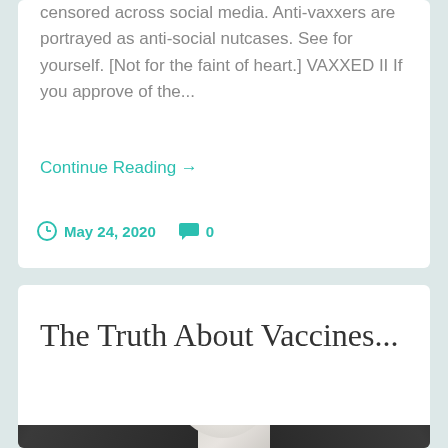censored across social media. Anti-vaxxers are portrayed as anti-social nutcases. See for yourself. [Not for the faint of heart.] VAXXED II If you approve of the...
Continue Reading →
May 24, 2020   0
The Truth About Vaccines...
[Figure (photo): Black and white photo of a cat, partially visible at the bottom of the card]